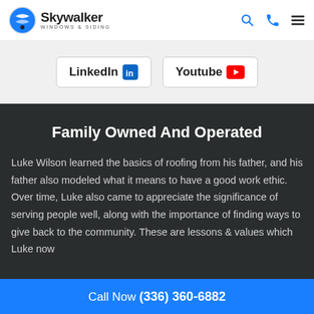[Figure (logo): Skywalker Windows & Siding logo with circular icon and brand name]
[Figure (other): LinkedIn and YouTube social media buttons]
Family Owned And Operated
Luke Wilson learned the basics of roofing from his father, and his father also modeled what it means to have a good work ethic. Over time, Luke also came to appreciate the significance of serving people well, along with the importance of finding ways to give back to the community. These are lessons & values which Luke now
Call Now (336) 360-6882